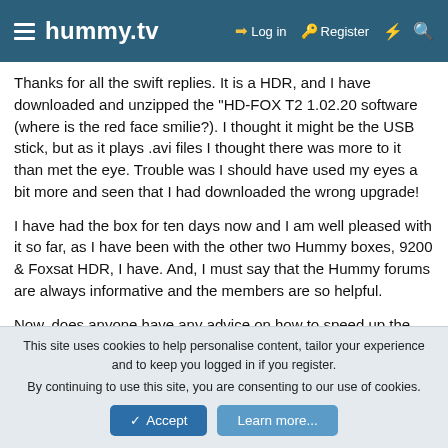hummy.tv  Log in  Register
Thanks for all the swift replies. It is a HDR, and I have downloaded and unzipped the "HD-FOX T2 1.02.20 software (where is the red face smilie?). I thought it might be the USB stick, but as it plays .avi files I thought there was more to it than met the eye. Trouble was I should have used my eyes a bit more and seen that I had downloaded the wrong upgrade!
I have had the box for ten days now and I am well pleased with it so far, as I have been with the other two Hummy boxes, 9200 & Foxsat HDR, I have. And, I must say that the Hummy forums are always informative and the members are so helpful.
Now, does anyone have any advice on how to speed up the recovery of a snapped Achilles tendon? 😊
This site uses cookies to help personalise content, tailor your experience and to keep you logged in if you register.
By continuing to use this site, you are consenting to our use of cookies.